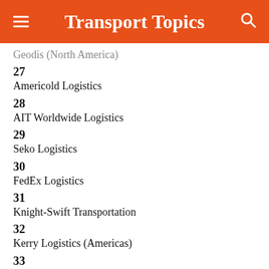Transport Topics
Geodis (North America)
27
Americold Logistics
28
AIT Worldwide Logistics
29
Seko Logistics
30
FedEx Logistics
31
Knight-Swift Transportation
32
Kerry Logistics (Americas)
33
Werner Logistics
34
ArcBest Corp.
35